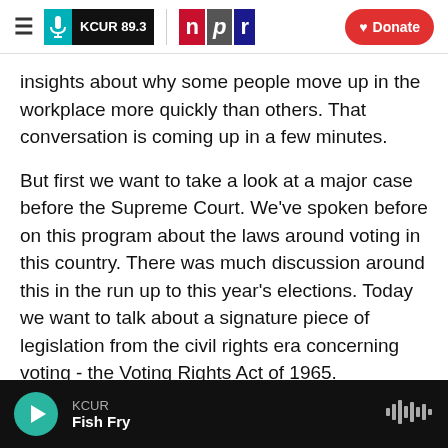KCUR 89.3 | npr | Donate
insights about why some people move up in the workplace more quickly than others. That conversation is coming up in a few minutes.
But first we want to take a look at a major case before the Supreme Court. We've spoken before on this program about the laws around voting in this country. There was much discussion around this in the run up to this year's elections. Today we want to talk about a signature piece of legislation from the civil rights era concerning voting - the Voting Rights Act of 1965.
KCUR Fish Fry